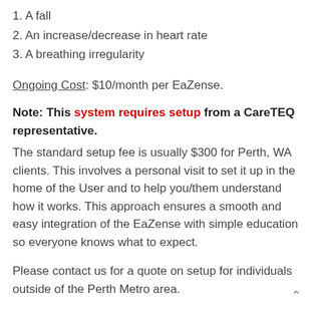1. A fall
2. An increase/decrease in heart rate
3. A breathing irregularity
Ongoing Cost: $10/month per EaZense.
Note: This system requires setup from a CareTEQ representative.
The standard setup fee is usually $300 for Perth, WA clients. This involves a personal visit to set it up in the home of the User and to help you/them understand how it works. This approach ensures a smooth and easy integration of the EaZense with simple education so everyone knows what to expect.
Please contact us for a quote on setup for individuals outside of the Perth Metro area.